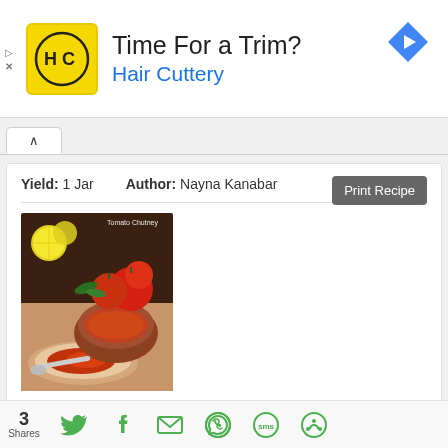[Figure (advertisement): Hair Cuttery ad banner with yellow HC logo, text 'Time For a Trim?' and 'Hair Cuttery' in blue, navigation arrow icon top right]
[Figure (photo): Photo of tomato chutney in copper bowls with tomatoes and lemon slices]
Yield: 1 Jar   Author: Nayna Kanabar
3 Shares